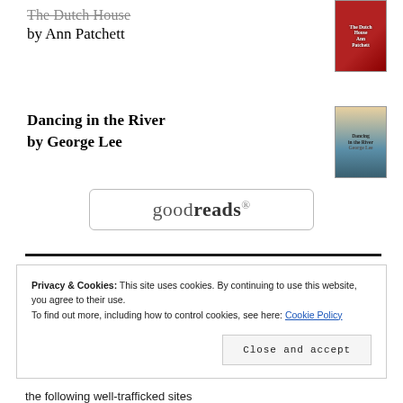The Dutch House by Ann Patchett
Dancing in the River by George Lee
[Figure (logo): Goodreads logo inside a rounded rectangle button]
Privacy & Cookies: This site uses cookies. By continuing to use this website, you agree to their use. To find out more, including how to control cookies, see here: Cookie Policy
the following well-trafficked sites